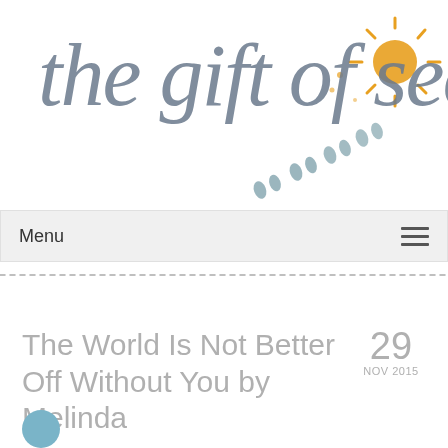[Figure (logo): Handwritten calligraphy logo reading 'the gift of second' in grey script, with a watercolor sun in orange/yellow top-right and small teal footprint illustrations below]
Menu
[Figure (other): Dashed horizontal line separator]
The World Is Not Better Off Without You by Melinda
29 NOV 2015